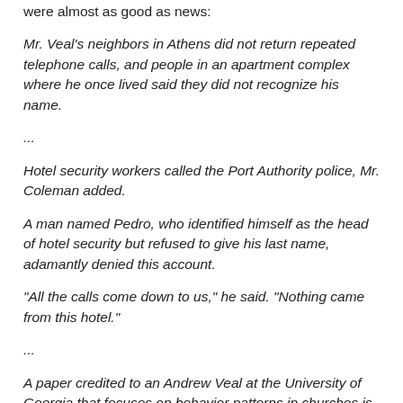were almost as good as news:
Mr. Veal's neighbors in Athens did not return repeated telephone calls, and people in an apartment complex where he once lived said they did not recognize his name.
...
Hotel security workers called the Port Authority police, Mr. Coleman added.
A man named Pedro, who identified himself as the head of hotel security but refused to give his last name, adamantly denied this account.
"All the calls come down to us," he said. "Nothing came from this hotel."
...
A paper credited to an Andrew Veal at the University of Georgia that focuses on behavior patterns in churches is